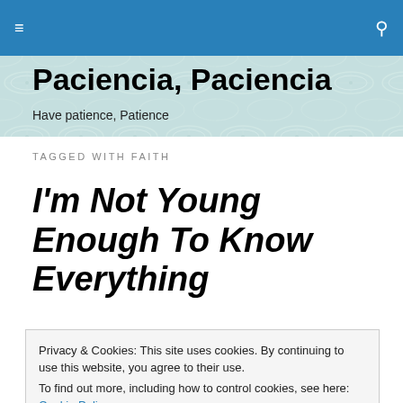≡  🔍
[Figure (illustration): Decorative teal/green geometric leaf-pattern background header image]
Paciencia, Paciencia
Have patience, Patience
TAGGED WITH FAITH
I'm Not Young Enough To Know Everything
Privacy & Cookies: This site uses cookies. By continuing to use this website, you agree to their use.
To find out more, including how to control cookies, see here: Cookie Policy